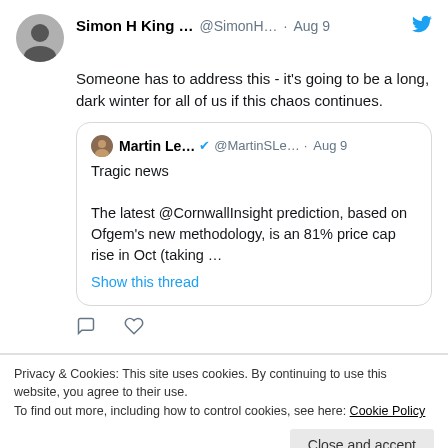[Figure (screenshot): Twitter/social media screenshot showing a tweet by Simon H King and a quoted tweet by Martin Le...]
Simon H King ... @SimonH... · Aug 9
Someone has to address this - it's going to be a long, dark winter for all of us if this chaos continues.
Martin Le... @MartinSLe... · Aug 9
Tragic news

The latest @CornwallInsight prediction, based on Ofgem's new methodology, is an 81% price cap rise in Oct (taking …
Show this thread
Privacy & Cookies: This site uses cookies. By continuing to use this website, you agree to their use.
To find out more, including how to control cookies, see here: Cookie Policy
Close and accept
OUR GALLERY